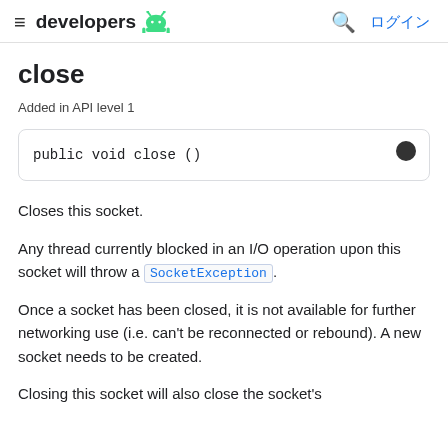≡ developers [android logo] 🔍 ログイン
close
Added in API level 1
public void close ()
Closes this socket.
Any thread currently blocked in an I/O operation upon this socket will throw a SocketException.
Once a socket has been closed, it is not available for further networking use (i.e. can't be reconnected or rebound). A new socket needs to be created.
Closing this socket will also close the socket's